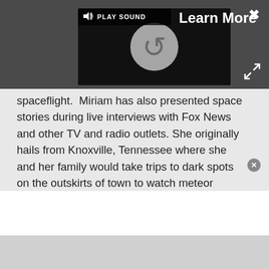[Figure (screenshot): Video player UI with dark background showing a loading spinner, a Play Sound button with speaker icon in top-left, and a Learn More label in top-right. An X close button appears in the upper-right corner and an expand/resize icon in the lower-right.]
spaceflight.  Miriam has also presented space stories during live interviews with Fox News and other TV and radio outlets. She originally hails from Knoxville, Tennessee where she and her family would take trips to dark spots on the outskirts of town to watch meteor showers every year. She loves to travel and one day hopes to see the northern lights in person. Miriam is currently a space reporter with Axios, writing the Axios